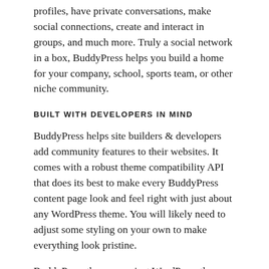profiles, have private conversations, make social connections, create and interact in groups, and much more. Truly a social network in a box, BuddyPress helps you build a home for your company, school, sports team, or other niche community.
BUILT WITH DEVELOPERS IN MIND
BuddyPress helps site builders & developers add community features to their websites. It comes with a robust theme compatibility API that does its best to make every BuddyPress content page look and feel right with just about any WordPress theme. You will likely need to adjust some styling on your own to make everything look pristine.
BuddyPress themes are just WordPress themes with additional templates, and with a little work, you could easily create your own, too! A handful of BuddyPress-specific themes are readily available for